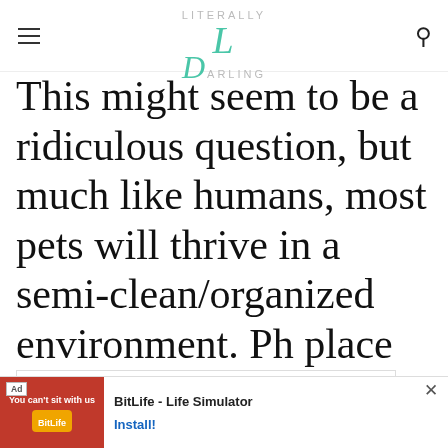Literally Darling (logo with hamburger menu and search icon)
This might seem to be a ridiculous question, but much like humans, most pets will thrive in a semi-clean/organized environment. Ph place clean then
Our site uses cookies. I our use of cookies: coc
I ACCEPT USE OF COOKIES
he journe
[Figure (screenshot): Ad banner for BitLife - Life Simulator with 'You can't sit with us' text, showing Install! button]